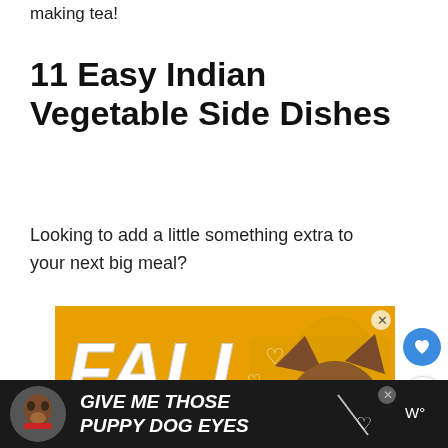making tea!
11 Easy Indian Vegetable Side Dishes
Looking to add a little something extra to your next big meal?
[Figure (photo): Advertisement banner with golden/yellow background showing a brown dog with red collar and large white bold italic text reading 'FALL HEAD OVER' with heart symbols. Close button X in upper right.]
[Figure (photo): Bottom banner advertisement on dark background with dog image and white bold italic text reading 'GIVE ME THOSE PUPPY DOG EYES' with a heart symbol and close X button. A W° logo appears on the right.]